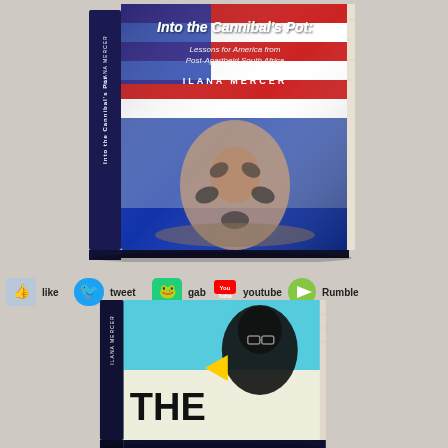[Figure (photo): Book cover of 'Into the Cannibal's Pot: Lessons for America from Post-Apartheid South Africa' by Ilana Mercer, showing American flag and artistic figure imagery with 3D book spine]
[Figure (infographic): Social media sharing icons row: like (Facebook), tweet (Twitter), gab (Gab), youtube (YouTube), Rumble, Gettr]
[Figure (photo): Second book cover by Ilana Mercer showing 'THE' text and a person with dark hair, teal/blue background, 3D book presentation]